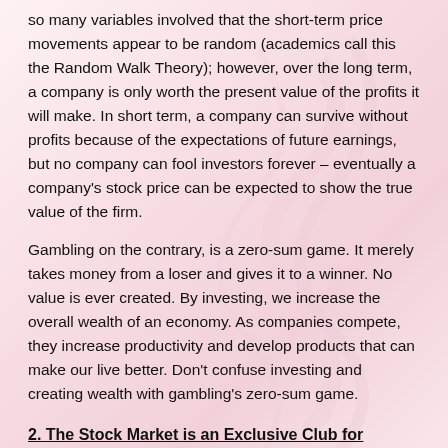so many variables involved that the short-term price movements appear to be random (academics call this the Random Walk Theory); however, over the long term, a company is only worth the present value of the profits it will make. In short term, a company can survive without profits because of the expectations of future earnings, but no company can fool investors forever – eventually a company's stock price can be expected to show the true value of the firm.
Gambling on the contrary, is a zero-sum game. It merely takes money from a loser and gives it to a winner. No value is ever created. By investing, we increase the overall wealth of an economy. As companies compete, they increase productivity and develop products that can make our live better. Don't confuse investing and creating wealth with gambling's zero-sum game.
2. The Stock Market is an Exclusive Club for Brokers and Rich People
Many market advisors claim to be able to call the markets' every